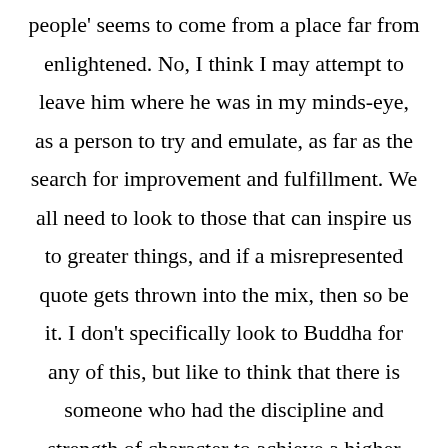people' seems to come from a place far from enlightened. No, I think I may attempt to leave him where he was in my minds-eye, as a person to try and emulate, as far as the search for improvement and fulfillment. We all need to look to those that can inspire us to greater things, and if a misrepresented quote gets thrown into the mix, then so be it. I don't specifically look to Buddha for any of this, but like to think that there is someone who had the discipline and strength of character to achieve a higher state of understanding. It gives me hope that I, too, may